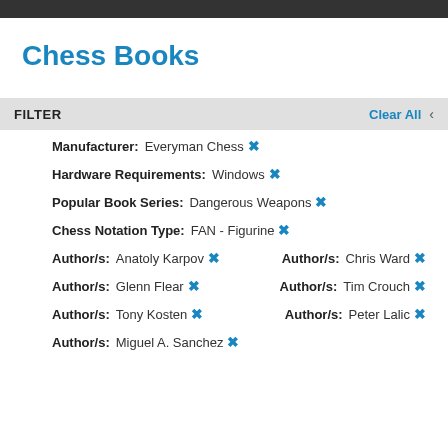Chess Books
FILTER
Manufacturer: Everyman Chess ×
Hardware Requirements: Windows ×
Popular Book Series: Dangerous Weapons ×
Chess Notation Type: FAN - Figurine ×
Author/s: Anatoly Karpov ×    Author/s: Chris Ward ×
Author/s: Glenn Flear ×    Author/s: Tim Crouch ×
Author/s: Tony Kosten ×    Author/s: Peter Lalic ×
Author/s: Miguel A. Sanchez ×